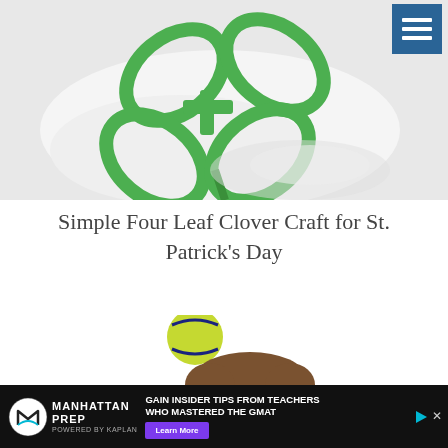[Figure (photo): A four leaf clover craft made from green paper strips bent into loops and connected together, sitting on a white surface. A dark menu hamburger icon button appears in the top right corner.]
Simple Four Leaf Clover Craft for St. Patrick’s Day
[Figure (photo): Partial view of a child with a yellow-green tennis ball above their head; partially cropped at the bottom of the frame.]
[Figure (other): Manhattan Prep advertisement banner (powered by Kaplan): 'GAIN INSIDER TIPS FROM TEACHERS WHO MASTERED THE GMAT' with a purple 'Learn More' button and play/close icons.]